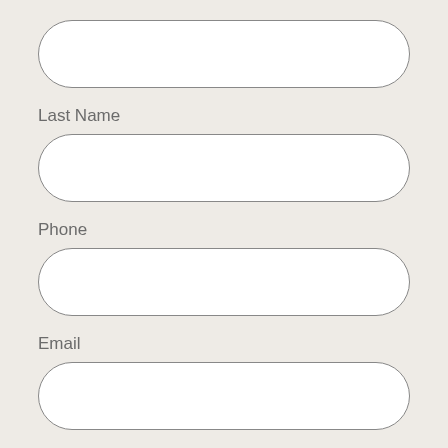[Figure (other): Empty rounded rectangle input field (no label visible, first field on page)]
Last Name
[Figure (other): Empty rounded rectangle input field for Last Name]
Phone
[Figure (other): Empty rounded rectangle input field for Phone]
Email
[Figure (other): Empty rounded rectangle input field for Email]
Postal Code